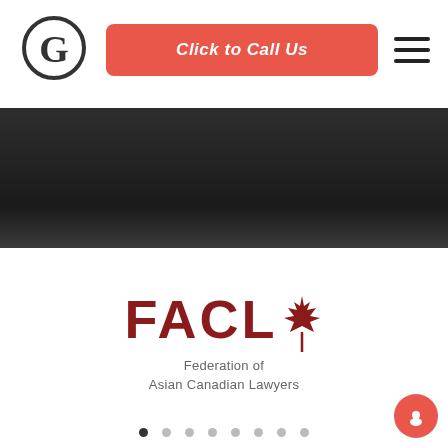[Figure (logo): Circular G logo mark in dark outline]
[Figure (other): Red rounded rectangle button with text 'Click to Call Us']
[Figure (other): Hamburger menu icon (three horizontal lines)]
[Figure (other): Dark gradient banner background]
[Figure (logo): FACL logo - Federation of Asian Canadian Lawyers with maple leaf]
[Figure (other): Carousel dots navigation - 8 dots, first one active/dark]
[Figure (other): Red circle chat button in bottom right corner]